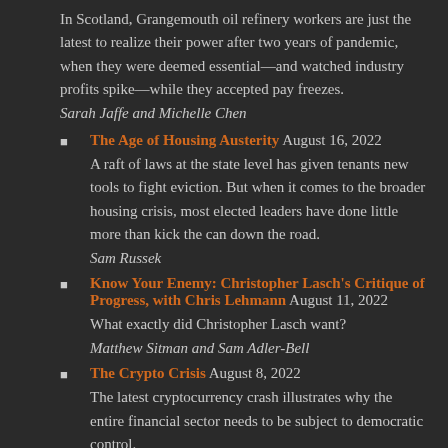In Scotland, Grangemouth oil refinery workers are just the latest to realize their power after two years of pandemic, when they were deemed essential—and watched industry profits spike—while they accepted pay freezes.
Sarah Jaffe and Michelle Chen
The Age of Housing Austerity August 16, 2022 A raft of laws at the state level has given tenants new tools to fight eviction. But when it comes to the broader housing crisis, most elected leaders have done little more than kick the can down the road. Sam Russek
Know Your Enemy: Christopher Lasch's Critique of Progress, with Chris Lehmann August 11, 2022 What exactly did Christopher Lasch want? Matthew Sitman and Sam Adler-Bell
The Crypto Crisis August 8, 2022 The latest cryptocurrency crash illustrates why the entire financial sector needs to be subject to democratic control. Trevor Jackson
Belabored: Delivery Workers Stuck in Searing Heat August 5, 2022